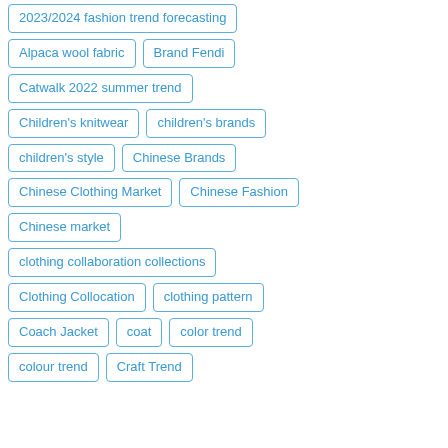2023/2024 fashion trend forecasting
Alpaca wool fabric
Brand Fendi
Catwalk 2022 summer trend
Children's knitwear
children's brands
children's style
Chinese Brands
Chinese Clothing Market
Chinese Fashion
Chinese market
clothing collaboration collections
Clothing Collocation
clothing pattern
Coach Jacket
coat
color trend
colour trend
Craft Trend